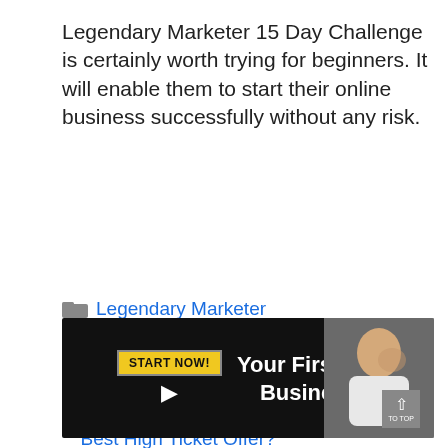Legendary Marketer 15 Day Challenge is certainly worth trying for beginners. It will enable them to start their online business successfully without any risk.
Legendary Marketer
< Legendary Marketer Cost – Marketing Training Worth The Price?
> Legendary Marketer Affiliate Program – Best High Ticket Offer?
[Figure (infographic): Black banner ad with yellow 'START NOW!' button, cursor icon, white bold text 'Your First Online Business 🔥', and a man in white t-shirt on the right side. Gray scroll-to-top button in bottom right corner.]